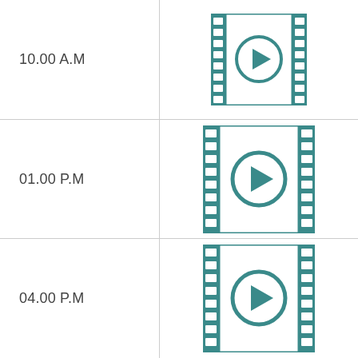10.00 A.M
[Figure (illustration): Film reel icon with play button, teal color]
01.00 P.M
[Figure (illustration): Film reel icon with play button, teal color]
04.00 P.M
[Figure (illustration): Film reel icon with play button, teal color]